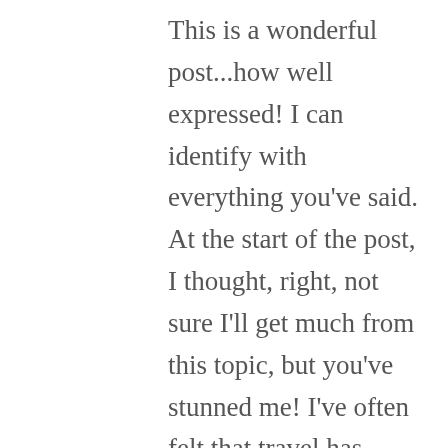This is a wonderful post...how well expressed! I can identify with everything you've said. At the start of the post, I thought, right, not sure I'll get much from this topic, but you've stunned me! I've often felt that travel has tapped into the true me, underneath the routines at home. I become more centred in myself, more free to think and I love being open to new wonders, seeing how I will respond – tiny or huge, depending on the context, this feature can be strengthening and validating. My hubby and I haven't done much travelling for